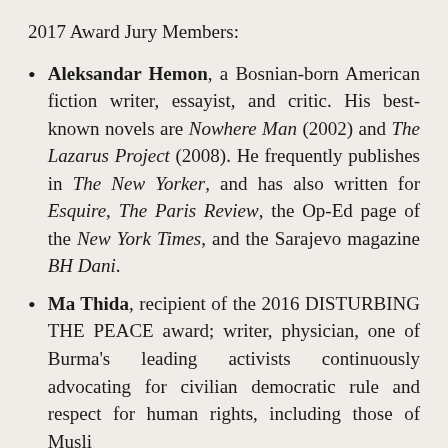2017 Award Jury Members:
Aleksandar Hemon, a Bosnian-born American fiction writer, essayist, and critic. His best-known novels are Nowhere Man (2002) and The Lazarus Project (2008). He frequently publishes in The New Yorker, and has also written for Esquire, The Paris Review, the Op-Ed page of the New York Times, and the Sarajevo magazine BH Dani.
Ma Thida, recipient of the 2016 DISTURBING THE PEACE award; writer, physician, one of Burma's leading activists continuously advocating for civilian democratic rule and respect for human rights, including those of Muslim minorities.